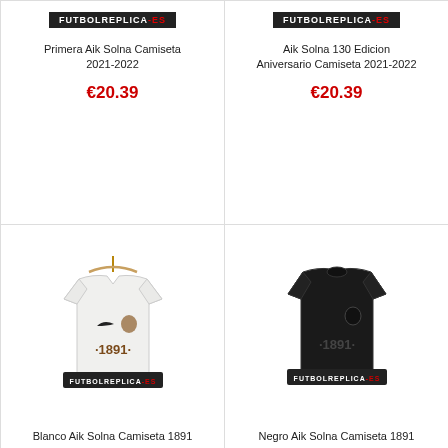[Figure (screenshot): FUTBOLREPLICA-ES logo banner, top-left product]
Primera Aik Solna Camiseta 2021-2022
€20.39
[Figure (screenshot): FUTBOLREPLICA-ES logo banner, top-right product]
Aik Solna 130 Edicion Aniversario Camiseta 2021-2022
€20.39
[Figure (photo): White AIK Solna 1891 jersey on hanger with Nike logo and FUTBOLREPLICA-ES watermark]
Blanco Aik Solna Camiseta 1891
[Figure (photo): Black AIK Solna 1891 jersey with FUTBOLREPLICA-ES watermark]
Negro Aik Solna Camiseta 1891